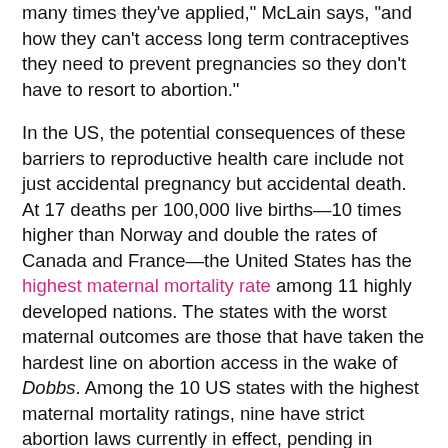many times they've applied," McLain says, "and how they can't access long term contraceptives they need to prevent pregnancies so they don't have to resort to abortion."
In the US, the potential consequences of these barriers to reproductive health care include not just accidental pregnancy but accidental death. At 17 deaths per 100,000 live births—10 times higher than Norway and double the rates of Canada and France—the United States has the highest maternal mortality rate among 11 highly developed nations. The states with the worst maternal outcomes are those that have taken the hardest line on abortion access in the wake of Dobbs. Among the 10 US states with the highest maternal mortality ratings, nine have strict abortion laws currently in effect, pending in courts, or guaranteed to take effect in the next month. The circumstances are particularly bad in abortion-banned Arkansas, where 40.4 out of